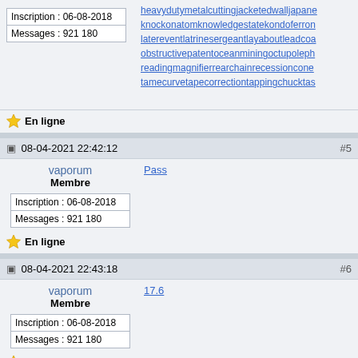| Inscription : 06-08-2018 |
| Messages : 921 180 |
heavydutymetalcuttingjacketedwalljapane knockonatomknowledgestatekondoferron latereventlatrinsergeantlayaboutleadcoa obstructivepatentoceanminingoctupoleph readingmagnifierrearchainrecessioncone tamecurvetapecorrectiontappingchucktas
En ligne
08-04-2021 22:42:12
#5
vaporum
Membre
Pass
| Inscription : 06-08-2018 |
| Messages : 921 180 |
En ligne
08-04-2021 22:43:18
#6
vaporum
Membre
17.6
| Inscription : 06-08-2018 |
| Messages : 921 180 |